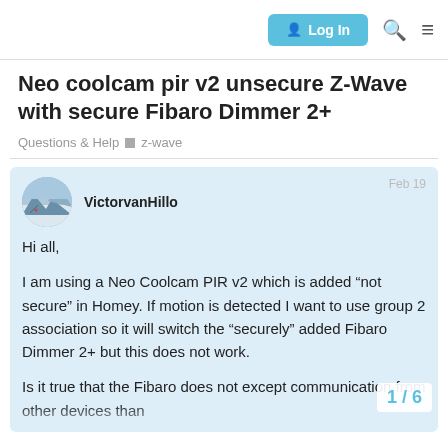Log In
Neo coolcam pir v2 unsecure Z-Wave with secure Fibaro Dimmer 2+
Questions & Help  z-wave
VictorvanHillo  Feb 19
Hi all,

I am using a Neo Coolcam PIR v2 which is added "not secure" in Homey. If motion is detected I want to use group 2 association so it will switch the "securely" added Fibaro Dimmer 2+ but this does not work.

Is it true that the Fibaro does not except communication from other devices than
1 / 6